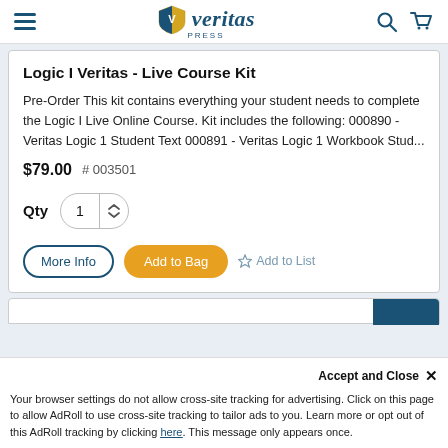Veritas Press - navigation bar with hamburger menu, logo, search and cart icons
Logic I Veritas - Live Course Kit
Pre-Order This kit contains everything your student needs to complete the Logic I Live Online Course. Kit includes the following: 000890 - Veritas Logic 1 Student Text 000891 - Veritas Logic 1 Workbook Stud...
$79.00  # 003501
Qty  1
More Info   Add to Bag   ☆ Add to List
Accept and Close ✕
Your browser settings do not allow cross-site tracking for advertising. Click on this page to allow AdRoll to use cross-site tracking to tailor ads to you. Learn more or opt out of this AdRoll tracking by clicking here. This message only appears once.